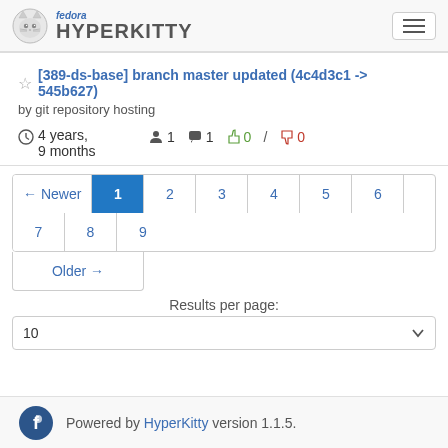fedora HYPERKITTY
[389-ds-base] branch master updated (4c4d3c1 -> 545b627)
by git repository hosting
4 years, 9 months   1   1   0 / 0
← Newer 1 2 3 4 5 6 7 8 9
Older →
Results per page:
10
Powered by HyperKitty version 1.1.5.